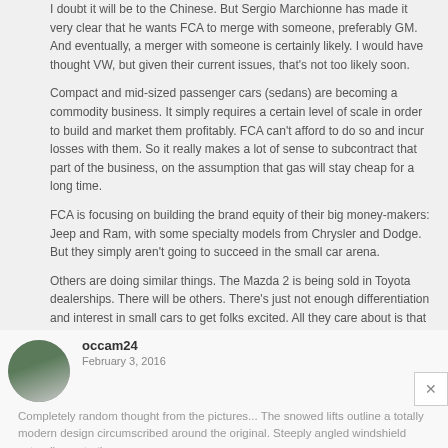I doubt it will be to the Chinese. But Sergio Marchionne has made it very clear that he wants FCA to merge with someone, preferably GM. And eventually, a merger with someone is certainly likely. I would have thought VW, but given their current issues, that's not too likely soon.
Compact and mid-sized passenger cars (sedans) are becoming a commodity business. It simply requires a certain level of scale in order to build and market them profitably. FCA can't afford to do so and incur losses with them. So it really makes a lot of sense to subcontract that part of the business, on the assumption that gas will stay cheap for a long time.
FCA is focusing on building the brand equity of their big money-makers: Jeep and Ram, with some specialty models from Chrysler and Dodge. But they simply aren't going to succeed in the small car arena.
Others are doing similar things. The Mazda 2 is being sold in Toyota dealerships. There will be others. There's just not enough differentiation and interest in small cars to get folks excited. All they care about is that they are cheap, reliable, and have good resale value. It's a changed world, as it always is.
Reply
occam24
February 3, 2016
Completely random thought from the pictures... The snowed lifts outline a totally modern design circumscribed around the original. Steeply angled windshield extending onto the